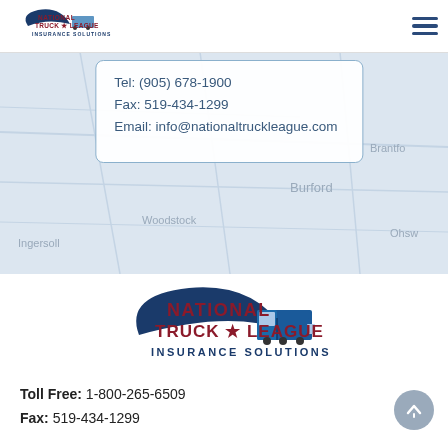National Truck League Insurance Solutions | Navigation menu
[Figure (map): Street map background showing Woodstock, Burford, Ingersoll, Ohsw area in Ontario, Canada]
Tel: (905) 678-1900
Fax: 519-434-1299
Email: info@nationaltruckleague.com
[Figure (logo): National Truck League Insurance Solutions logo — large version with dark blue swoosh, red NATIONAL TRUCK LEAGUE text with star, truck illustration, and blue INSURANCE SOLUTIONS subtitle]
Toll Free: 1-800-265-6509
Fax: 519-434-1299